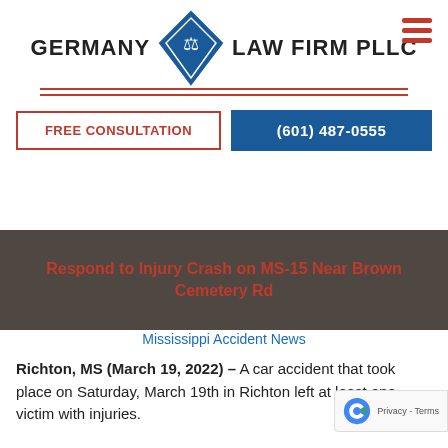[Figure (logo): Germany Law Firm PLLC logo with blue diamond shape containing scales of justice, flanked by text GERMANY and LAW FIRM PLLC, with red horizontal lines and hamburger menu icon]
FREE CONSULTATION
(601) 487-0555
Respond to Injury Crash on MS-15 Near Brown Cemetery Rd
Mississippi Accident News
Richton, MS (March 19, 2022) – A car accident that took place on Saturday, March 19th in Richton left at least one victim with injuries.